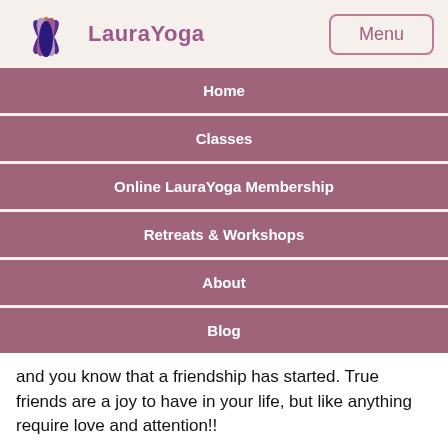LauraYoga
Home
Classes
Online LauraYoga Membership
Retreats & Workshops
About
Blog
and you know that a friendship has started. True friends are a joy to have in your life, but like anything require love and attention!!